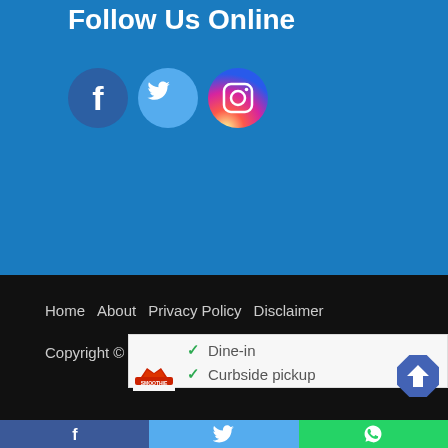Follow Us Online
[Figure (logo): Facebook, Twitter, and Instagram social media icons]
Home   About   Privacy Policy   Disclaimer
Copyright © 2022 NRIGuides.com
[Figure (screenshot): Google Maps card snippet showing Smoothie King with checkmarks for Dine-in and Curbside pickup options, plus a navigation arrow icon]
[Figure (logo): Social share bar with Facebook, Twitter, and WhatsApp buttons]